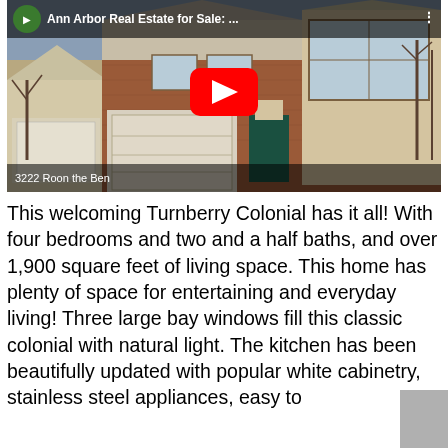[Figure (screenshot): YouTube video thumbnail showing a brick colonial house at 3222 Roon the Ben, with YouTube play button overlay and title 'Ann Arbor Real Estate for Sale:...']
This welcoming Turnberry Colonial has it all! With four bedrooms and two and a half baths, and over 1,900 square feet of living space. This home has plenty of space for entertaining and everyday living! Three large bay windows fill this classic colonial with natural light. The kitchen has been beautifully updated with popular white cabinetry, stainless steel appliances, easy to